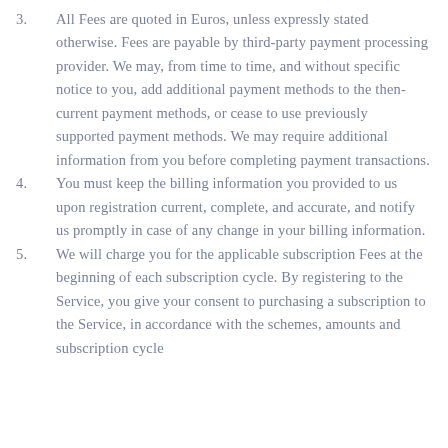3. All Fees are quoted in Euros, unless expressly stated otherwise. Fees are payable by third-party payment processing provider. We may, from time to time, and without specific notice to you, add additional payment methods to the then-current payment methods, or cease to use previously supported payment methods. We may require additional information from you before completing payment transactions.
4. You must keep the billing information you provided to us upon registration current, complete, and accurate, and notify us promptly in case of any change in your billing information.
5. We will charge you for the applicable subscription Fees at the beginning of each subscription cycle. By registering to the Service, you give your consent to purchasing a subscription to the Service, in accordance with the schemes, amounts and subscription cycle...